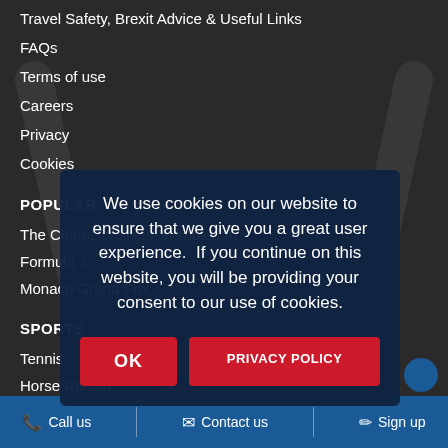Travel Safety, Brexit Advice & Useful Links
FAQs
Terms of use
Careers
Privacy
Cookies
POPULAR
The Championships, Wimbledon
Formula 1
Monaco Grand Prix
SPORTS
Tennis
Horse Racing
We use cookies on our website to ensure that we give you a great user experience.  If you continue on this website, you will be providing your consent to our use of cookies.
OK
PRIVACY POLICY
Call us   Contact us   Sign up